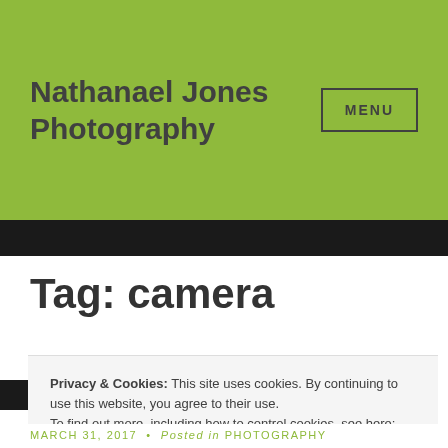Nathanael Jones Photography
MENU
Tag: camera
Privacy & Cookies: This site uses cookies. By continuing to use this website, you agree to their use.
To find out more, including how to control cookies, see here: Cookie Policy
Close and accept
MARCH 31, 2017 • Posted in PHOTOGRAPHY